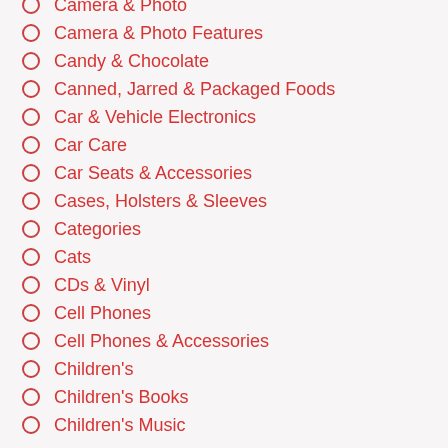Camera & Photo
Camera & Photo Features
Candy & Chocolate
Canned, Jarred & Packaged Foods
Car & Vehicle Electronics
Car Care
Car Seats & Accessories
Cases, Holsters & Sleeves
Categories
Cats
CDs & Vinyl
Cell Phones
Cell Phones & Accessories
Children's
Children's Books
Children's Music